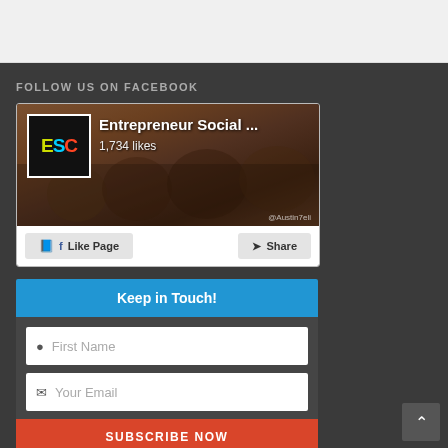FOLLOW US ON FACEBOOK
[Figure (screenshot): Facebook page widget showing Entrepreneur Social ... with 1,734 likes, ESC logo, group photo background, Like Page and Share buttons]
Keep in Touch!
First Name
Your Email
SUBSCRIBE NOW